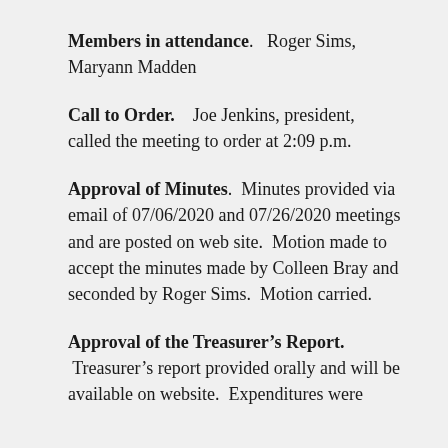Members in attendance.   Roger Sims, Maryann Madden
Call to Order.    Joe Jenkins, president, called the meeting to order at 2:09 p.m.
Approval of Minutes.  Minutes provided via email of 07/06/2020 and 07/26/2020 meetings and are posted on web site.  Motion made to accept the minutes made by Colleen Bray and seconded by Roger Sims.  Motion carried.
Approval of the Treasurer’s Report.  Treasurer’s report provided orally and will be available on website.  Expenditures were